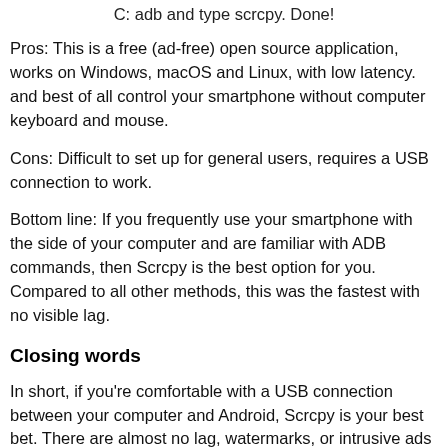C: adb and type scrcpy. Done!
Pros: This is a free (ad-free) open source application, works on Windows, macOS and Linux, with low latency. and best of all control your smartphone without computer keyboard and mouse.
Cons: Difficult to set up for general users, requires a USB connection to work.
Bottom line: If you frequently use your smartphone with the side of your computer and are familiar with ADB commands, then Scrcpy is the best option for you. Compared to all other methods, this was the fastest with no visible lag.
Closing words
In short, if you're comfortable with a USB connection between your computer and Android, Scrcpy is your best bet. There are almost no lag, watermarks, or intrusive ads here. However, if